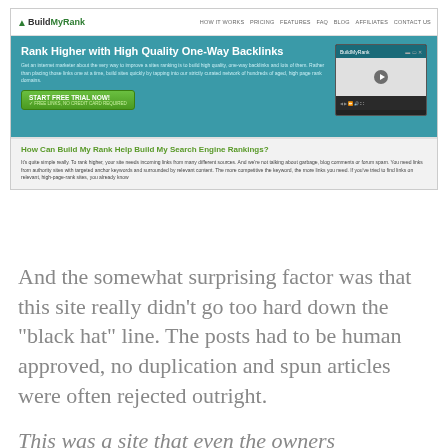[Figure (screenshot): Screenshot of BuildMyRank website showing navbar with logo and navigation links, a teal hero section with headline 'Rank Higher with High Quality One-Way Backlinks', a green CTA button 'START FREE TRIAL NOW!', a video thumbnail on the right, and a content section with green heading 'How Can Build My Rank Help Build My Search Engine Rankings?' and body text.]
And the somewhat surprising factor was that this site really didn't go too hard down the "black hat" line. The posts had to be human approved, no duplication and spun articles were often rejected outright.
This was a site that even the owners [continues below]